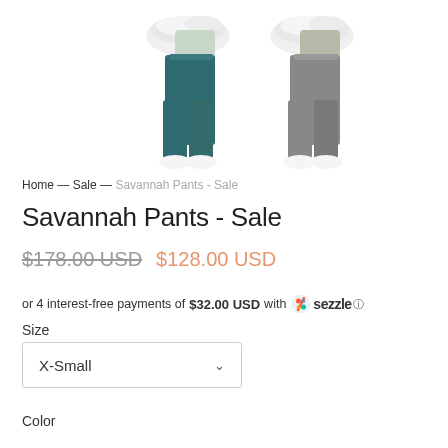[Figure (photo): Product images showing two models wearing Savannah Pants in teal/green and gray colors, with white sneakers visible at top]
Home — Sale — Savannah Pants - Sale
Savannah Pants - Sale
$178.00 USD  $128.00 USD
or 4 interest-free payments of $32.00 USD with Sezzle
Size
X-Small
Color